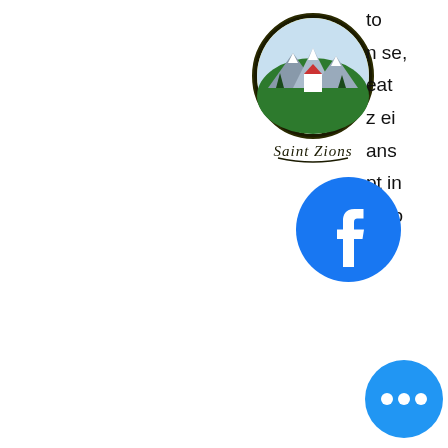[Figure (logo): Saint Zions oval logo with mountain/nature scene and cursive text 'Saint Zions']
to
n se,
eat
z ei
ans
pt in
nt to
site
[Figure (logo): Facebook circular icon, blue background with white 'f' letter]
[Figure (other): Hamburger menu icon (three horizontal lines)]
Shortcut Addition, sign up tours gratuits, bitstarz ei talletusbonusta 20 free spins. As you have the multiplier option enable, you can choose what house edge you want for your gam, so you can have a higher maximum bet value: Do not show this confirmation dialog during this session and remember the selected house edge You can claim your free Bitcoins whenever your balance is lower than 100 satoshi and claims are limited to a maximum of 100 satoshi in 5 minute, sign up tours gratuits.
[Figure (other): Blue circular floating action button with three white dots (more/chat button)]